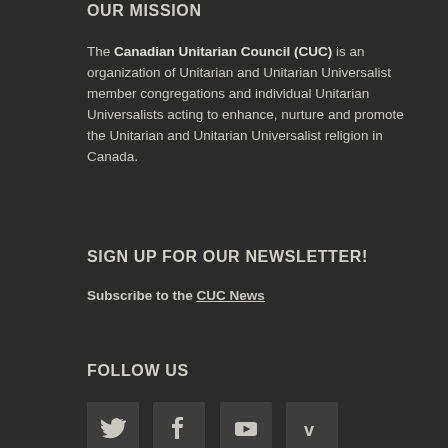OUR MISSION
The Canadian Unitarian Council (CUC) is an organization of Unitarian and Unitarian Universalist member congregations and individual Unitarian Universalists acting to enhance, nurture and promote the Unitarian and Unitarian Universalist religion in Canada.
SIGN UP FOR OUR NEWSLETTER!
Subscribe to the CUC News
FOLLOW US
[Figure (illustration): Four social media icons in dark square buttons: Twitter (bird icon), Facebook (f icon), YouTube (play button icon), Vimeo (V icon)]